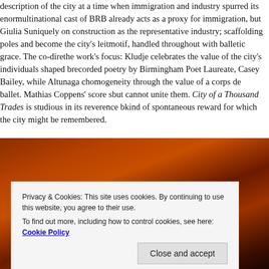description of the city at a time when immigration and industry spurred its enormous growth. The multinational cast of BRB already acts as a proxy for immigration, but Giulia Scotti focuses uniquely on construction as the representative industry; scaffolding poles and wire frames become the city's leitmotif, handled throughout with balletic grace. The co-directors divide the work's focus: Kludje celebrates the value of the city's individuals shaped by community through recorded poetry by Birmingham Poet Laureate, Casey Bailey, while Altunaga champions a homogeneity through the value of a corps de ballet. Mathias Coppens' score sometimes unites but cannot unite them. City of a Thousand Trades is studious in its reverence but misses the kind of spontaneous reward for which the city might be remembered.
[Figure (photo): Dark reddish-brown textured background, possibly draped fabric or rock, with warm amber/orange tones. A cookie consent overlay box appears in the lower portion of the image.]
Privacy & Cookies: This site uses cookies. By continuing to use this website, you agree to their use.
To find out more, including how to control cookies, see here: Cookie Policy